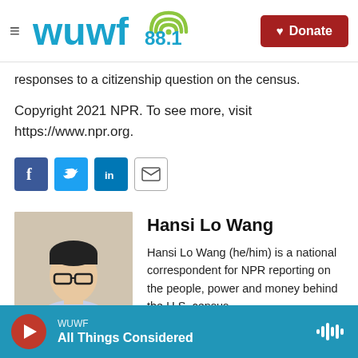WUWF 88.1 — Donate
responses to a citizenship question on the census.
Copyright 2021 NPR. To see more, visit https://www.npr.org.
[Figure (infographic): Social sharing icons: Facebook (blue), Twitter (blue), LinkedIn (blue), Email (white with border)]
[Figure (photo): Headshot photo of Hansi Lo Wang]
Hansi Lo Wang
Hansi Lo Wang (he/him) is a national correspondent for NPR reporting on the people, power and money behind the U.S. census.
WUWF — All Things Considered